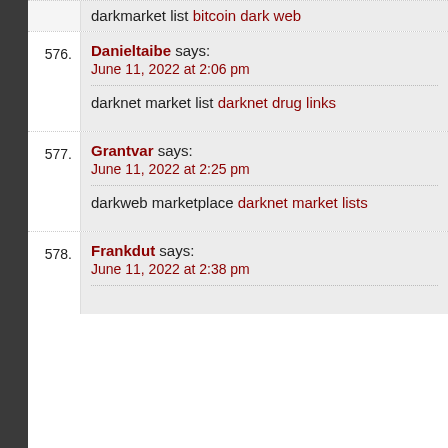darkmarket list bitcoin dark web
576. Danieltaibe says: June 11, 2022 at 2:06 pm — darknet market list darknet drug links
577. Grantvar says: June 11, 2022 at 2:25 pm — darkweb marketplace darknet market lists
578. Frankdut says: June 11, 2022 at 2:38 pm